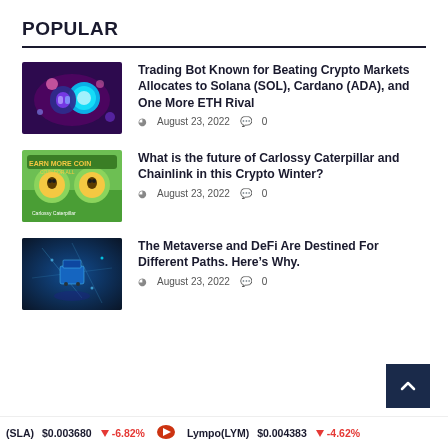POPULAR
Trading Bot Known for Beating Crypto Markets Allocates to Solana (SOL), Cardano (ADA), and One More ETH Rival | August 23, 2022 | 0
What is the future of Carlossy Caterpillar and Chainlink in this Crypto Winter? | August 23, 2022 | 0
The Metaverse and DeFi Are Destined For Different Paths. Here’s Why. | August 23, 2022 | 0
(SLA) $0.003680 ↓ -6.82% Lympo(LYM) $0.004383 ↓ -4.62%